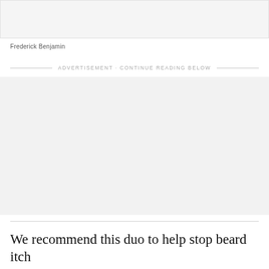[Figure (screenshot): Top portion of a product image area, partially cropped, showing a light gray background with faint button shapes]
Frederick Benjamin
ADVERTISEMENT · CONTINUE READING BELOW
[Figure (other): Advertisement placeholder block with light gray background]
We recommend this duo to help stop beard itch